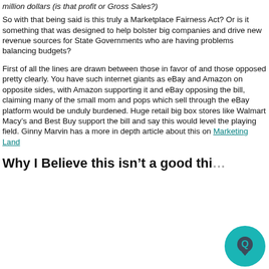million dollars (is that profit or Gross Sales?)
So with that being said is this truly a Marketplace Fairness Act? Or is it something that was designed to help bolster big companies and drive new revenue sources for State Governments who are having problems balancing budgets?
First of all the lines are drawn between those in favor of and those opposed pretty clearly. You have such internet giants as eBay and Amazon on opposite sides, with Amazon supporting it and eBay opposing the bill, claiming many of the small mom and pops which sell through the eBay platform would be unduly burdened. Huge retail big box stores like Walmart Macy’s and Best Buy support the bill and say this would level the playing field. Ginny Marvin has a more in depth article about this on Marketing Land
Why I Believe this isn’t a good thi…